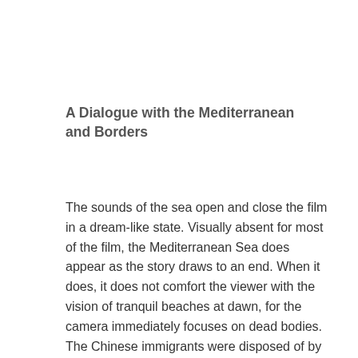A Dialogue with the Mediterranean and Borders
The sounds of the sea open and close the film in a dream-like state. Visually absent for most of the film, the Mediterranean Sea does appear as the story draws to an end. When it does, it does not comfort the viewer with the vision of tranquil beaches at dawn, for the camera immediately focuses on dead bodies. The Chinese immigrants were disposed of by dumping them into the sea and seem to return naturally and rhythmically as their bodies are washed ashore. Once again, González Iñárritu frustrates the viewers'